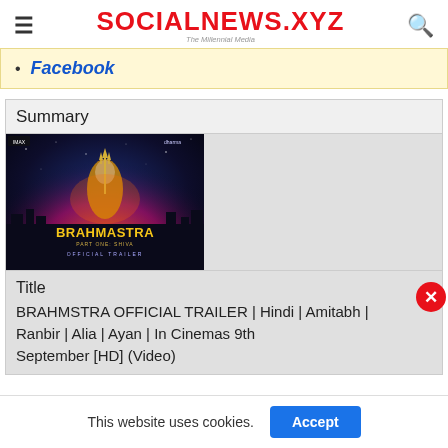SOCIALNEWS.XYZ — The Millennial Media
Facebook
Summary
[Figure (photo): Brahmastra Official Trailer movie poster thumbnail showing a character with a trident against a fiery background with the text BRAHMASTRA PART ONE: SHIVA OFFICIAL TRAILER]
Title
BRAHMSTRA OFFICIAL TRAILER | Hindi | Amitabh | Ranbir | Alia | Ayan | In Cinemas 9th September [HD] (Video)
This website uses cookies.
Accept